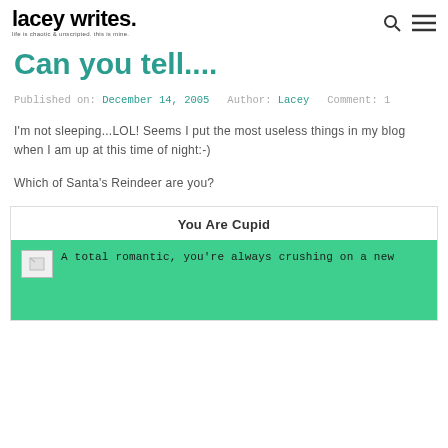lacey writes. life is chaotic & unscripted. this is mine.
Can you tell....
Published on: December 14, 2005   Author: Lacey   Comment: 1
I'm not sleeping...LOL! Seems I put the most useless things in my blog when I am up at this time of night:-)
Which of Santa's Reindeer are you?
You Are Cupid
A total romantic, you're always crushing on a new